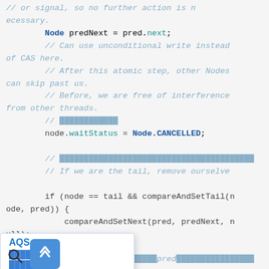[Figure (screenshot): Code editor screenshot showing Java/concurrent code with syntax highlighting. The code shows comments about signal handling, CAS operations, node wait status assignment, tail removal, and compareAndSet operations. An autocomplete/navigation panel overlays the left side showing 'AQS' and related items. A search and back-to-top button appear at the bottom.]